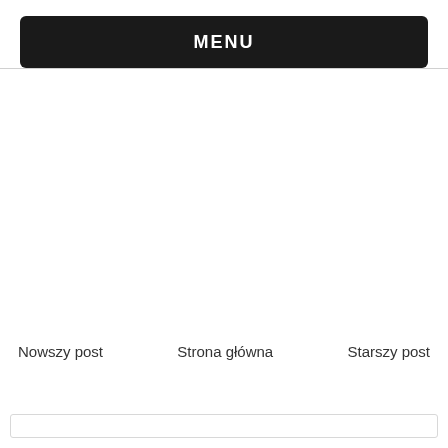MENU
Nowszy post
Strona główna
Starszy post